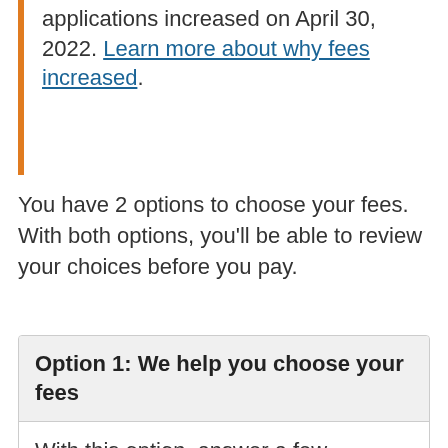applications increased on April 30, 2022. Learn more about why fees increased.
You have 2 options to choose your fees. With both options, you'll be able to review your choices before you pay.
Option 1: We help you choose your fees
With this option, answer a few questions about your application type and we'll tell you which fees you need to